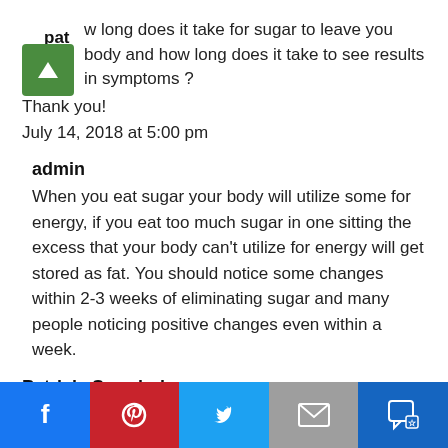pat
how long does it take for sugar to leave you body and how long does it take to see results in symptoms ?
Thank you!
July 14, 2018 at 5:00 pm
admin
When you eat sugar your body will utilize some for energy, if you eat too much sugar in one sitting the excess that your body can't utilize for energy will get stored as fat. You should notice some changes within 2-3 weeks of eliminating sugar and many people noticing positive changes even within a week.
Patricia Sawchuk
I have peripheric neuropathy - confirmed by an electromyograph - from extensive chemo therapy. It grabbed
Facebook | Pinterest | Twitter | Email | SMS